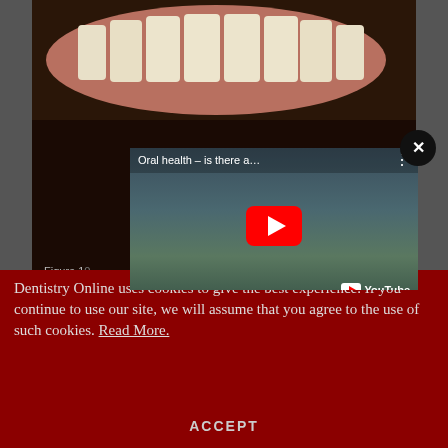[Figure (screenshot): Close-up photograph of human teeth and gums (dental image), partially obscured by a YouTube video popup overlay. The video is titled 'Oral health – is there a...' and shows a woman being interviewed. A YouTube play button is visible along with the YouTube logo. A 'Find out more »' button appears below the video. A close (X) button appears at the top-right of the popup. A figure label 'Figure 1' is partially visible at the bottom-left of the dental photo.]
Dentistry Online uses cookies to give the best experience. If you continue to use our site, we will assume that you agree to the use of such cookies. Read More.
ACCEPT